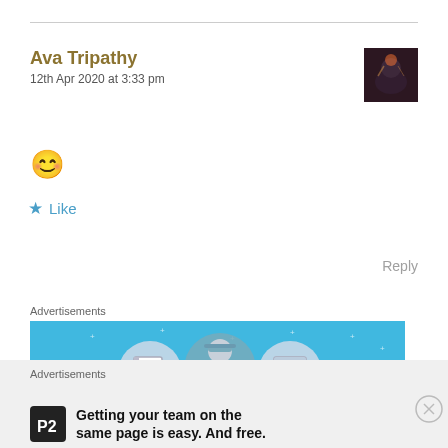Ava Tripathy
12th Apr 2020 at 3:33 pm
[Figure (photo): Small dark avatar thumbnail photo in top right corner]
😊
★ Like
Reply
Advertisements
[Figure (illustration): Advertisement banner with blue background showing three circular icons: a notebook, a person with hard hat, and a checklist/form]
Advertisements
Getting your team on the same page is easy. And free.